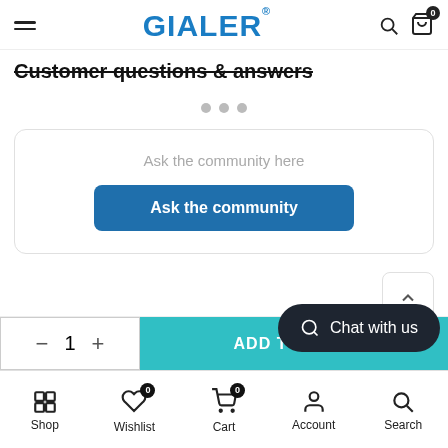GIALER®
Customer questions & answers
[Figure (other): Three grey loading dots indicating content loading]
Ask the community here
Ask the community
[Figure (other): Back to top chevron button]
[Figure (other): Add to cart bar with quantity selector (minus, 1, plus) and ADD TO CART button]
[Figure (other): Chat with us bubble button]
Shop   Wishlist   Cart   Account   Search